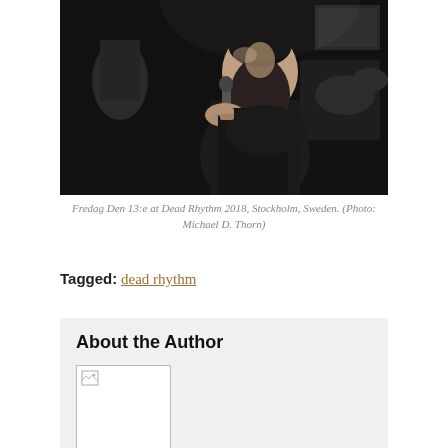[Figure (photo): Black and white concert photo of a bearded male vocalist leaning into a microphone, performing on stage, with other band members visible in the background.]
Fredag Den 13:e at Dead Rhythm 2018, Stockholm, Sweden. (Photo: Michael D. Thorn)
Tagged: dead rhythm
About the Author
[Figure (photo): Broken/missing author image placeholder with small broken image icon in top-left corner.]